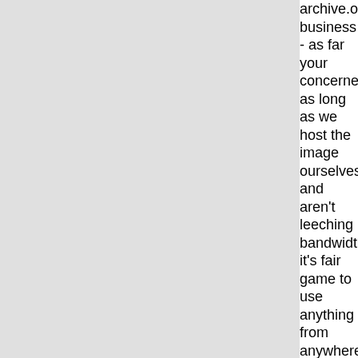archive.org business - as far your concerned, as long as we host the image ourselves, and aren't leeching bandwidth it's fair game to use anything from anywhere? IMO this is reprehensible regardless of the legalities, especially when it's from user-